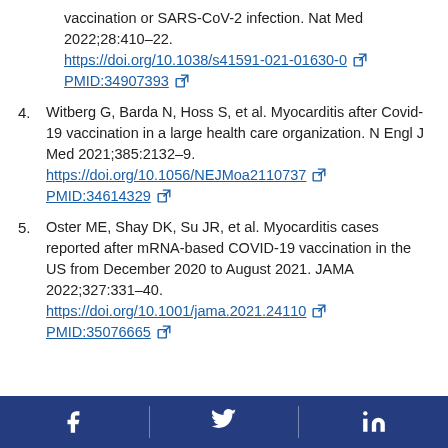vaccination or SARS-CoV-2 infection. Nat Med 2022;28:410–22. https://doi.org/10.1038/s41591-021-01630-0  PMID:34907393
4. Witberg G, Barda N, Hoss S, et al. Myocarditis after Covid-19 vaccination in a large health care organization. N Engl J Med 2021;385:2132–9. https://doi.org/10.1056/NEJMoa2110737 PMID:34614329
5. Oster ME, Shay DK, Su JR, et al. Myocarditis cases reported after mRNA-based COVID-19 vaccination in the US from December 2020 to August 2021. JAMA 2022;327:331–40. https://doi.org/10.1001/jama.2021.24110 PMID:35076665
Facebook Twitter LinkedIn